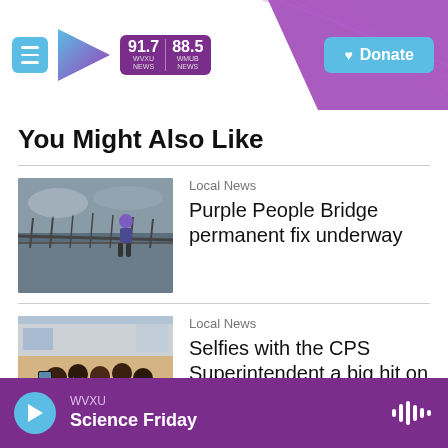[Figure (screenshot): WVXU/WMUB radio station website header with menu button, logo showing 91.7 WVXU NEWS and 88.5 WMUB NEWS, purple diagonal accent, and Donate button]
You Might Also Like
[Figure (photo): Person standing on Purple People Bridge in overcast weather]
Local News
Purple People Bridge permanent fix underway
[Figure (photo): Group of people taking selfies, smiling, in a school building]
Local News
Selfies with the CPS Superintendent a big hit on the first day
WVXU Science Friday